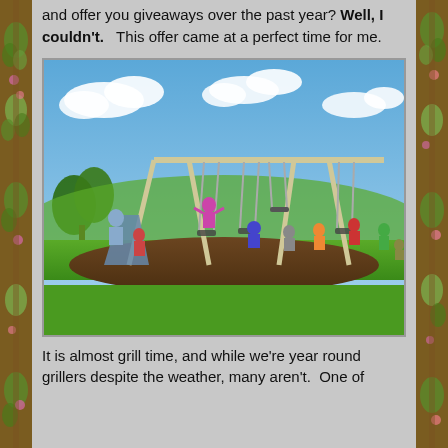and offer you giveaways over the past year? Well, I couldn't.   This offer came at a perfect time for me.
[Figure (photo): Children playing on a swing set/playground structure in a yard with green grass, brown mulch, and a blue sky with white clouds in the background.]
It is almost grill time, and while we're year round grillers despite the weather, many aren't.  One of